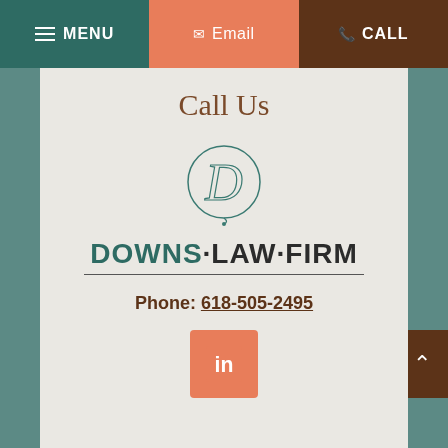MENU  Email  CALL
Call Us
[Figure (logo): Downs Law Firm circular script D logo above text DOWNS·LAW·FIRM]
Phone: 618-505-2495
[Figure (logo): LinkedIn icon button in orange/salmon color]